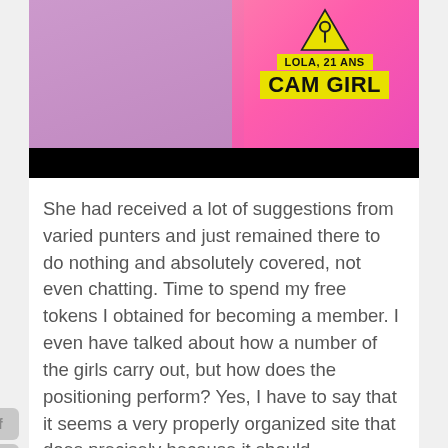[Figure (photo): Thumbnail image of a young woman with brown hair wearing a purple top, with a yellow warning triangle sign and yellow banner text reading 'LOLA, 21 ANS' and 'CAM GIRL', pink blurred background on right, black bar at bottom.]
She had received a lot of suggestions from varied punters and just remained there to do nothing and absolutely covered, not even chatting. Time to spend my free tokens I obtained for becoming a member. I even have talked about how a number of the girls carry out, but how does the positioning perform? Yes, I have to say that it seems a very properly organized site that does precisely because it should.